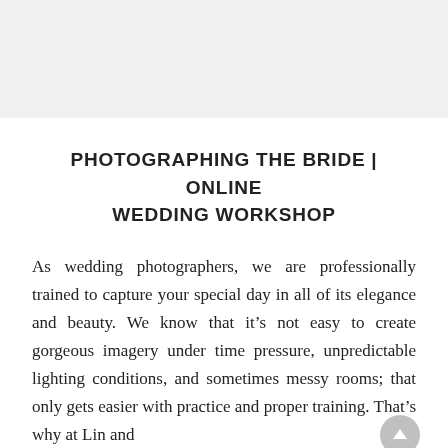[Figure (other): Gray banner/header area at top of page]
PHOTOGRAPHING THE BRIDE | ONLINE WEDDING WORKSHOP
As wedding photographers, we are professionally trained to capture your special day in all of its elegance and beauty. We know that it’s not easy to create gorgeous imagery under time pressure, unpredictable lighting conditions, and sometimes messy rooms; that only gets easier with practice and proper training. That’s why at Lin and Jirsa Photography, we train all of our shooters through an